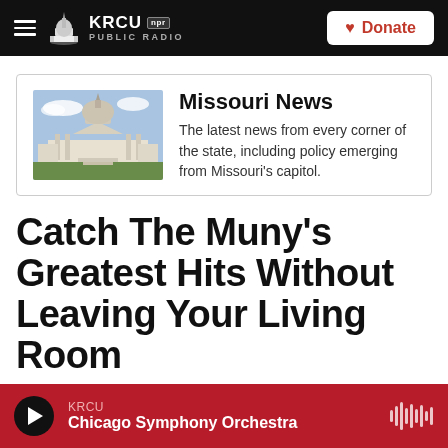KRCU NPR PUBLIC RADIO | Donate
[Figure (other): Missouri State Capitol building photo thumbnail]
Missouri News
The latest news from every corner of the state, including policy emerging from Missouri's capitol.
Catch The Muny's Greatest Hits Without Leaving Your Living Room
KRCU | Chicago Symphony Orchestra (media player)